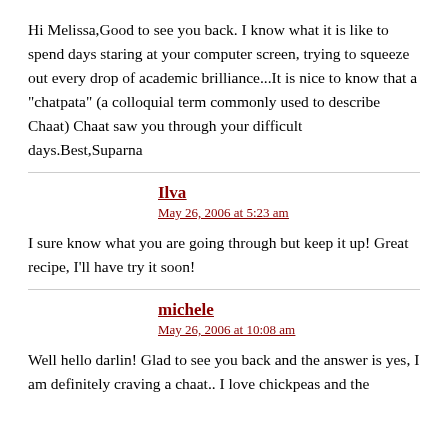Hi Melissa,Good to see you back. I know what it is like to spend days staring at your computer screen, trying to squeeze out every drop of academic brilliance...It is nice to know that a "chatpata" (a colloquial term commonly used to describe Chaat) Chaat saw you through your difficult days.Best,Suparna
Ilva
May 26, 2006 at 5:23 am
I sure know what you are going through but keep it up! Great recipe, I'll have try it soon!
michele
May 26, 2006 at 10:08 am
Well hello darlin! Glad to see you back and the answer is yes, I am definitely craving a chaat.. I love chickpeas and the